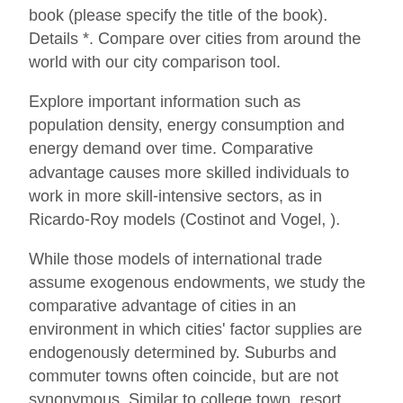book (please specify the title of the book). Details *. Compare over cities from around the world with our city comparison tool.
Explore important information such as population density, energy consumption and energy demand over time. Comparative advantage causes more skilled individuals to work in more skill-intensive sectors, as in Ricardo-Roy models (Costinot and Vogel, ).
While those models of international trade assume exogenous endowments, we study the comparative advantage of cities in an environment in which cities' factor supplies are endogenously determined by. Suburbs and commuter towns often coincide, but are not synonymous. Similar to college town, resort town and mill town, the term commuter town describes the municipality's predominant economic function.
A suburb, in contrast, is a community of lesser size,